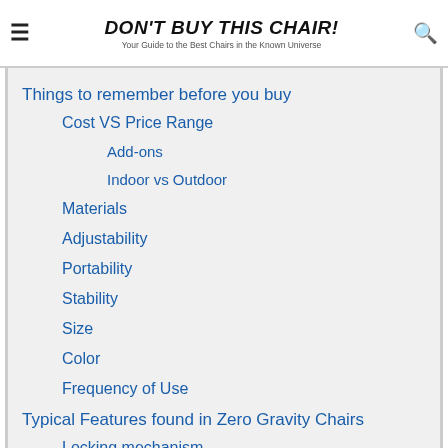DON'T BUY THIS CHAIR! Your Guide to the Best Chairs in the Known Universe
Things to remember before you buy
Cost VS Price Range
Add-ons
Indoor vs Outdoor
Materials
Adjustability
Portability
Stability
Size
Color
Frequency of Use
Typical Features found in Zero Gravity Chairs
Locking mechanism